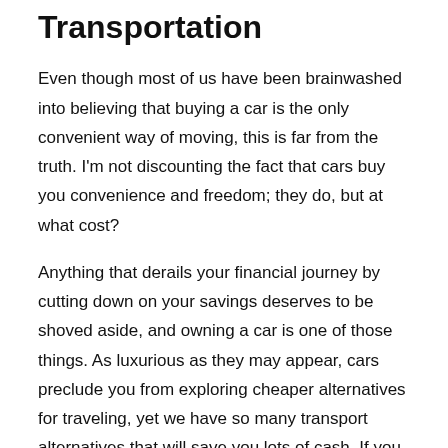Transportation
Even though most of us have been brainwashed into believing that buying a car is the only convenient way of moving, this is far from the truth. I'm not discounting the fact that cars buy you convenience and freedom; they do, but at what cost?
Anything that derails your financial journey by cutting down on your savings deserves to be shoved aside, and owning a car is one of those things. As luxurious as they may appear, cars preclude you from exploring cheaper alternatives for traveling, yet we have so many transport alternatives that will save you lots of cash. If you live in a metropolitan city that has a functioning public transit system, for example, this is an option you should explore. Most public transit passes will cost you $100 a month, which is way below the total costs of managing your own car. Alternatively, you can